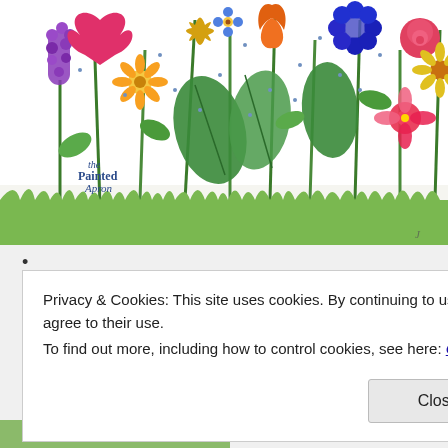[Figure (illustration): Colorful hand-drawn flower garden illustration with various flowers including roses, tulips, daisies, and other blooms on green stems with leaves. Watermark reads 'the Painted Apron' in the lower left corner.]
•
Privacy & Cookies: This site uses cookies. By continuing to use this website, you agree to their use.
To find out more, including how to control cookies, see here: Cookie Policy
Close and accept
or f
n m